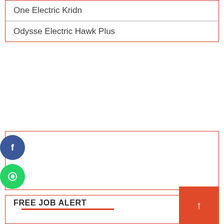One Electric Kridn
Odysse Electric Hawk Plus
[Figure (other): Empty advertisement or content box with red border]
FREE JOB ALERT
Free Job Alert
Delhi Government Jobs